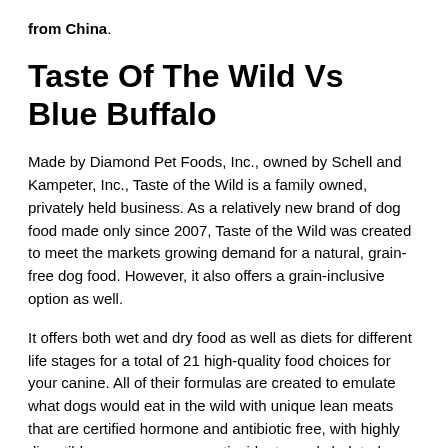from China.
Taste Of The Wild Vs Blue Buffalo
Made by Diamond Pet Foods, Inc., owned by Schell and Kampeter, Inc., Taste of the Wild is a family owned, privately held business. As a relatively new brand of dog food made only since 2007, Taste of the Wild was created to meet the markets growing demand for a natural, grain-free dog food. However, it also offers a grain-inclusive option as well.
It offers both wet and dry food as well as diets for different life stages for a total of 21 high-quality food choices for your canine. All of their formulas are created to emulate what dogs would eat in the wild with unique lean meats that are certified hormone and antibiotic free, with highly digestible energy sources, antioxidants, and chelated minerals for